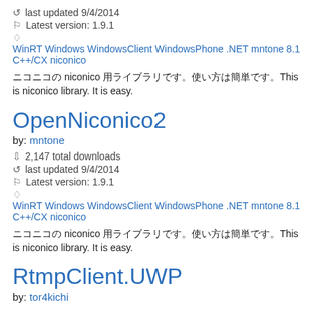last updated 9/4/2014
Latest version: 1.9.1
WinRT Windows WindowsClient WindowsPhone .NET mntone 8.1 C++/CX niconico
ニコニコの niconico 用ライブラリです。使い方は簡単です。This is niconico library. It is easy.
OpenNiconico2
by: mntone
2,147 total downloads
last updated 9/4/2014
Latest version: 1.9.1
WinRT Windows WindowsClient WindowsPhone .NET mntone 8.1 C++/CX niconico
ニコニコの niconico 用ライブラリです。使い方は簡単です。This is niconico library. It is easy.
RtmpClient.UWP
by: tor4kichi